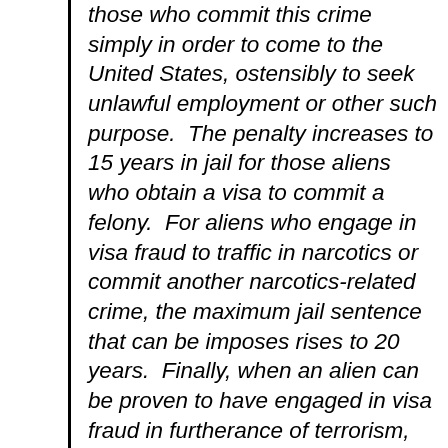those who commit this crime simply in order to come to the United States, ostensibly to seek unlawful employment or other such purpose.  The penalty increases to 15 years in jail for those aliens who obtain a visa to commit a felony.  For aliens who engage in visa fraud to traffic in narcotics or commit another narcotics-related crime, the maximum jail sentence that can be imposes rises to 20 years.  Finally, when an alien can be proven to have engaged in visa fraud in furtherance of terrorism, the maximum penalty climbs to 25 years in prison.  It is important to note that while it may be difficult to prove that an individual is a terrorist, it is usually